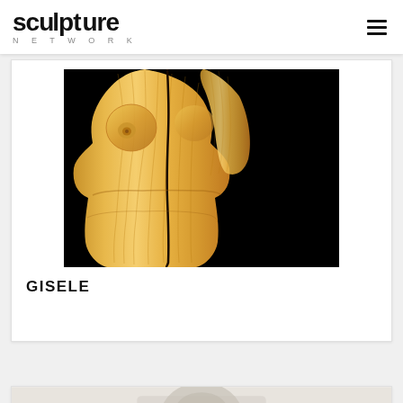sculpture NETWORK
[Figure (photo): Wooden sculpture of a female torso, carved from light golden-brown wood with visible grain, set against a black background. A dark crack/line runs vertically down the center of the figure.]
GISELE
[Figure (photo): Partial view of another sculpture, appears to show lighter/grey toned sculptural work, only the top edge is visible at the bottom of the page.]